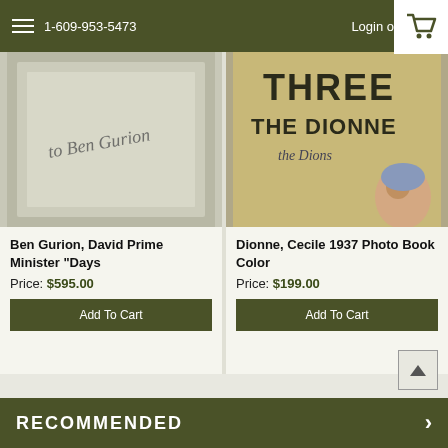1-609-953-5473   Login or Sign
[Figure (photo): Handwritten signature on light grey paper]
[Figure (photo): Book cover showing 'THREE THE DIONNE' with illustrated children]
Ben Gurion, David Prime Minister "Days
Price: $595.00
Add To Cart
Dionne, Cecile 1937 Photo Book Color
Price: $199.00
Add To Cart
RECOMMENDED